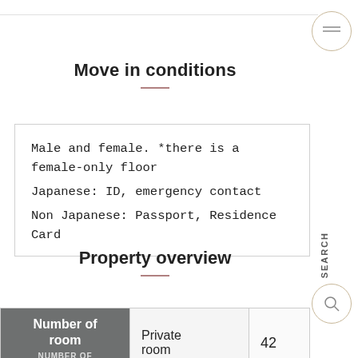Move in conditions
Male and female. *there is a female-only floor
Japanese: ID, emergency contact
Non Japanese: Passport, Residence Card
Property overview
| Number of room / NUMBER OF ROOMS | Private room | 42 |
| --- | --- | --- |
| Number of room
NUMBER OF ROOMS | Private room | 42 |